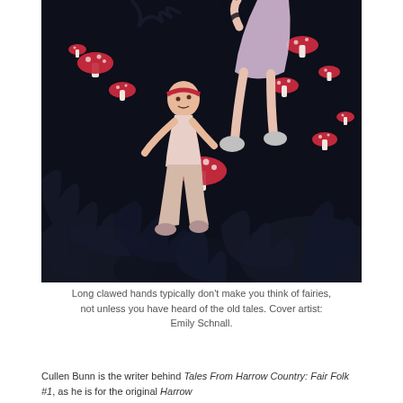[Figure (illustration): Comic book cover art showing two figures (a boy in casual clothes and a girl in a dress) falling or floating in a dark, shadowy environment surrounded by red-capped mushrooms. The background is very dark with swirling dark shapes. The characters appear alarmed. Art by Emily Schnall.]
Long clawed hands typically don't make you think of fairies, not unless you have heard of the old tales. Cover artist: Emily Schnall.
Cullen Bunn is the writer behind Tales From Harrow Country: Fair Folk #1, as he is for the original Harrow